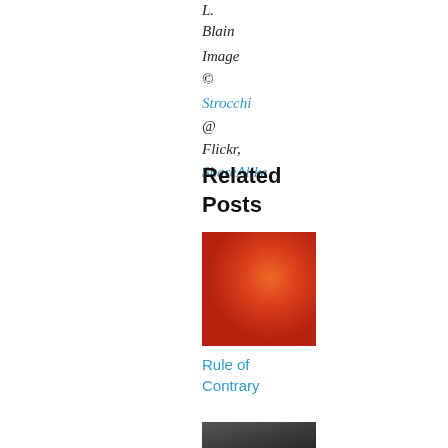L.
Blain
Image
©
Strocchi
@
Flickr,
ShareAlike
Related
Posts
[Figure (photo): Red/orange textured square image]
Rule of
Contrary
[Figure (photo): Dark gray/black square image, partially visible]